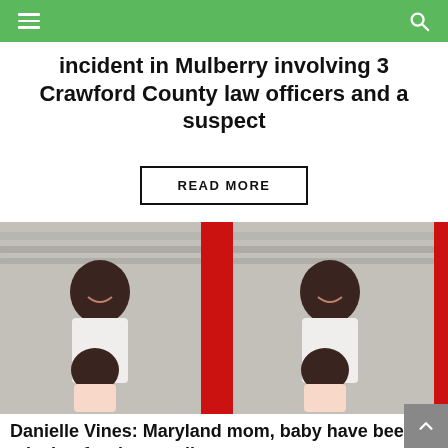Navigation bar with hamburger menu and search icon
incident in Mulberry involving 3 Crawford County law officers and a suspect
READ MORE
[Figure (photo): Two side-by-side photos of a woman (Danielle Vines) smiling and holding a baby, separated by a red vertical bar]
Danielle Vines: Maryland mom, baby have been missing for days, police say